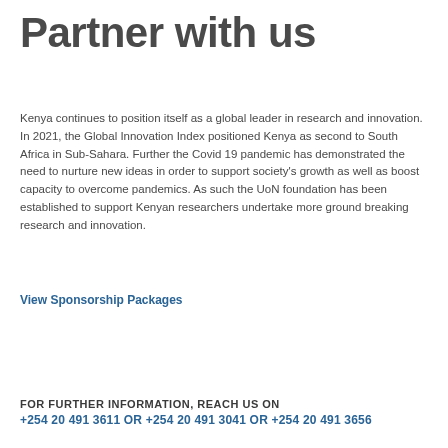Partner with us
Kenya continues to position itself as a global leader in research and innovation. In 2021, the Global Innovation Index positioned Kenya as second to South Africa in Sub-Sahara. Further the Covid 19 pandemic has demonstrated the need to nurture new ideas in order to support society's growth as well as boost capacity to overcome pandemics. As such the UoN foundation has been established to support Kenyan researchers undertake more ground breaking research and innovation.
View Sponsorship Packages
[Figure (other): Blue rounded rectangle donate button with text DONATE NOW, and a blue square scroll-to-top button with a chevron arrow]
FOR FURTHER INFORMATION, REACH US ON
+254 20 491 3611 OR +254 20 491 3041 OR +254 20 491 3656